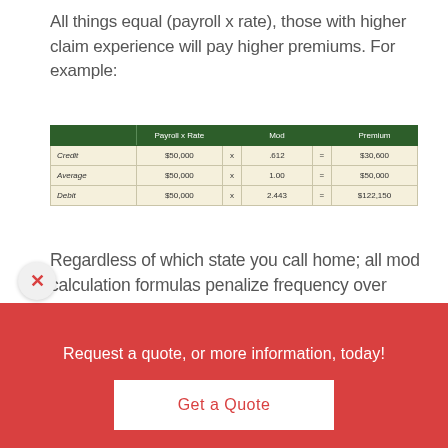All things equal (payroll x rate), those with higher claim experience will pay higher premiums. For example:
|  | Payroll x Rate |  | Mod |  | Premium |
| --- | --- | --- | --- | --- | --- |
| Credit | $50,000 | x | .612 | = | $30,600 |
| Average | $50,000 | x | 1.00 | = | $50,000 |
| Debit | $50,000 | x | 2.443 | = | $122,150 |
Regardless of which state you call home; all mod calculation formulas penalize frequency over severity. Calculation formulas limit larger loss amounts, shielding employers from the effects of that one “shock” loss.
Request a quote, or more information, today!
Get a Quote